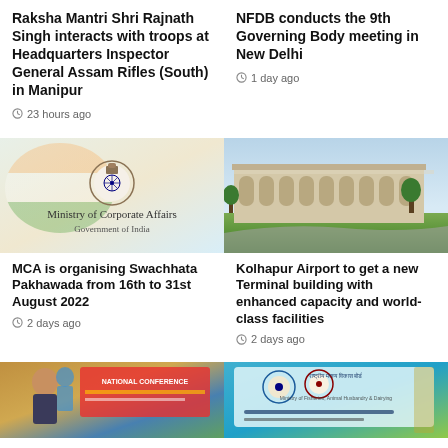Raksha Mantri Shri Rajnath Singh interacts with troops at Headquarters Inspector General Assam Rifles (South) in Manipur
23 hours ago
NFDB conducts the 9th Governing Body meeting in New Delhi
1 day ago
[Figure (photo): Ministry of Corporate Affairs, Government of India logo and branding image]
MCA is organising Swachhata Pakhawada from 16th to 31st August 2022
2 days ago
[Figure (photo): Kolhapur Airport terminal building exterior photo]
Kolhapur Airport to get a new Terminal building with enhanced capacity and world-class facilities
2 days ago
[Figure (photo): Photo of person at event with banner (partially visible)]
[Figure (photo): Document or certificate image (partially visible)]